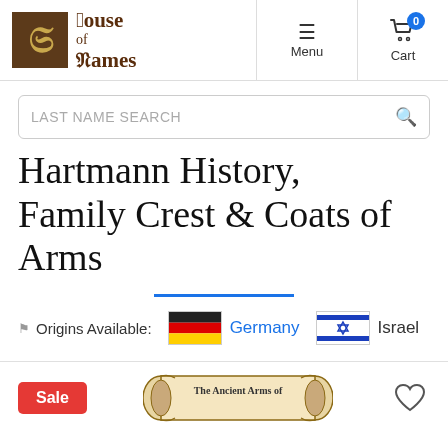[Figure (logo): House of Names logo with gothic H letter on brown square and blackletter text]
Menu
Cart 0
LAST NAME SEARCH
Hartmann History, Family Crest & Coats of Arms
Origins Available: Germany  Israel
Sale
[Figure (illustration): The Ancient Arms of scroll banner image]
[Figure (other): Heart/wishlist icon]